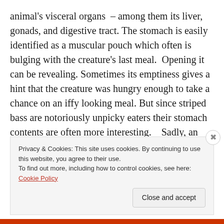animal's visceral organs  – among them its liver, gonads, and digestive tract. The stomach is easily identified as a muscular pouch which often is bulging with the creature's last meal.  Opening it can be revealing. Sometimes its emptiness gives a hint that the creature was hungry enough to take a chance on an iffy looking meal. But since striped bass are notoriously unpicky eaters their stomach contents are often more interesting.   Sadly, an occasional plastic
Privacy & Cookies: This site uses cookies. By continuing to use this website, you agree to their use.
To find out more, including how to control cookies, see here: Cookie Policy
Close and accept